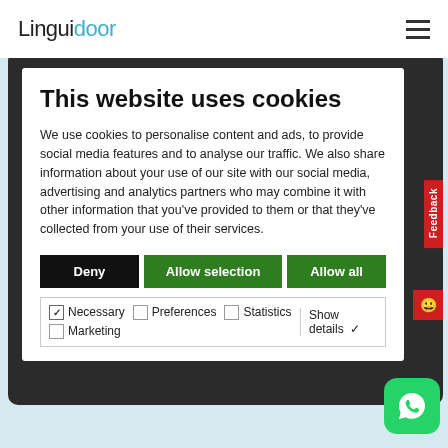[Figure (logo): Linguidoor logo with black and teal text]
[Figure (screenshot): Cookie consent modal overlay on tablet device showing Linguidoor website with Deny, Allow selection, and Allow all buttons, and checkboxes for Necessary, Preferences, Statistics, Marketing]
Certified Translation
Website Translation
Book Translation
[Figure (illustration): WhatsApp icon button in bottom right corner]